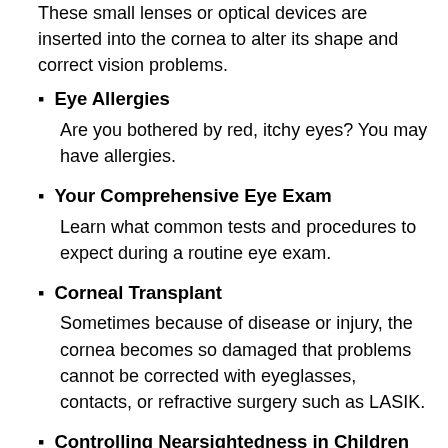These small lenses or optical devices are inserted into the cornea to alter its shape and correct vision problems.
Eye Allergies
Are you bothered by red, itchy eyes? You may have allergies.
Your Comprehensive Eye Exam
Learn what common tests and procedures to expect during a routine eye exam.
Corneal Transplant
Sometimes because of disease or injury, the cornea becomes so damaged that problems cannot be corrected with eyeglasses, contacts, or refractive surgery such as LASIK.
Controlling Nearsightedness in Children